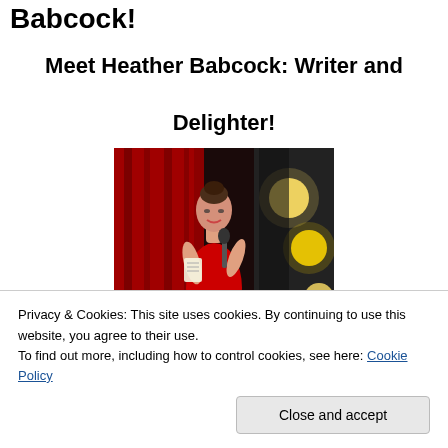Babcock!
Meet Heather Babcock: Writer and Delighter!
[Figure (photo): Woman in red dress holding a microphone, performing on stage in front of red curtains with stage lights visible]
Privacy & Cookies: This site uses cookies. By continuing to use this website, you agree to their use.
To find out more, including how to control cookies, see here: Cookie Policy
Close and accept